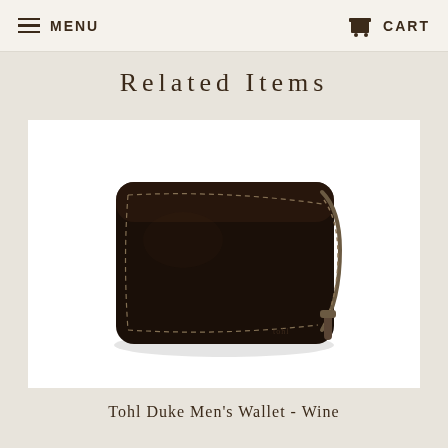MENU   CART
Related Items
[Figure (photo): A dark brown/wine colored leather zip-around bifold wallet (Tohl Duke Men's Wallet) photographed on a white background. The wallet has visible stitching along the edges and a zipper closure with a pull tab visible at the bottom right corner. A small brand logo is visible near the bottom right.]
Tohl Duke Men's Wallet - Wine